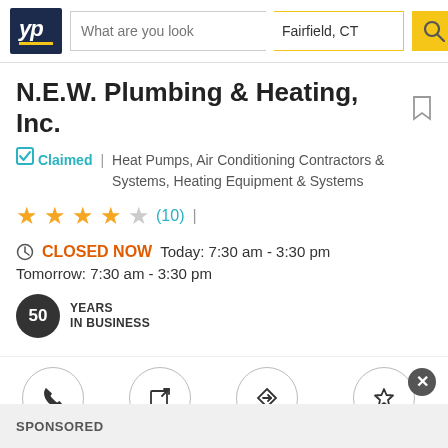YP | What are you looking for? | Fairfield, CT
N.E.W. Plumbing & Heating, Inc.
Claimed | Heat Pumps, Air Conditioning Contractors & Systems, Heating Equipment & Systems
★★★★☆ (10)
CLOSED NOW Today: 7:30 am - 3:30 pm
Tomorrow: 7:30 am - 3:30 pm
50 YEARS IN BUSINESS
Call | Website | Directions | Write Review
SPONSORED